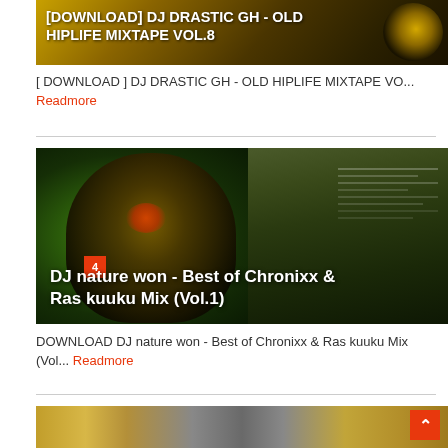[Figure (photo): Thumbnail image with golden/dark background showing '[DOWNLOAD] DJ DRASTIC GH - OLD HIPLIFE MIXTAPE VOL.8' text overlay]
[ DOWNLOAD ] DJ DRASTIC GH - OLD HIPLIFE MIXTAPE VO... Readmore
[Figure (photo): Thumbnail image of DJ nature won - Best of Chronixx & Ras kuuku Mix (Vol.1) with green and dark tones, badge number 4]
DOWNLOAD DJ nature won - Best of Chronixx & Ras kuuku Mix (Vol... Readmore
[Figure (photo): Partial thumbnail of a third article at the bottom of the page]